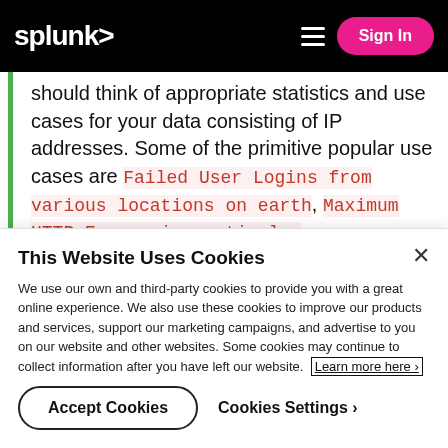splunk> Sign In
should think of appropriate statistics and use cases for your data consisting of IP addresses. Some of the primitive popular use cases are Failed User Logins from various locations on earth, Maximum HTTP Errors in particular State/Country or location etc.
This Website Uses Cookies
We use our own and third-party cookies to provide you with a great online experience. We also use these cookies to improve our products and services, support our marketing campaigns, and advertise to you on our website and other websites. Some cookies may continue to collect information after you have left our website. Learn more here ›
Accept Cookies    Cookies Settings ›